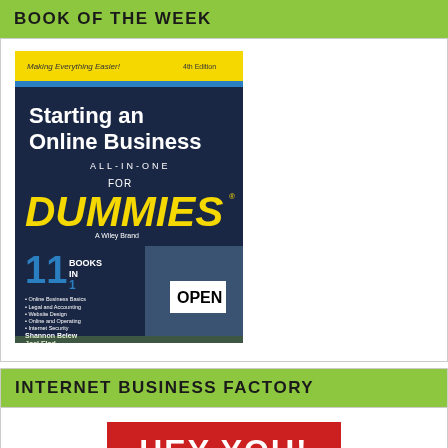BOOK OF THE WEEK
[Figure (illustration): Book cover: Starting an Online Business All-in-One For Dummies, 4th Edition, by Shannon Belew and Joel Elad. Dark navy background with yellow DUMMIES text, two people holding an OPEN sign, '11 Books in 1' callout.]
INTERNET BUSINESS FACTORY
[Figure (illustration): Red banner with white bold text reading HEY YOU!]